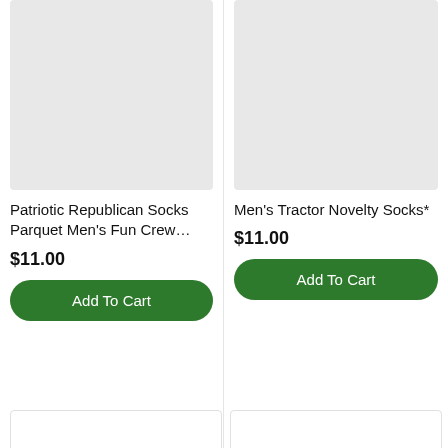[Figure (photo): Product image placeholder for Patriotic Republican Socks (light gray rectangle)]
Patriotic Republican Socks Parquet Men's Fun Crew…
$11.00
Add To Cart
[Figure (photo): Product image placeholder for Men's Tractor Novelty Socks (light gray rectangle)]
Men's Tractor Novelty Socks*
$11.00
Add To Cart